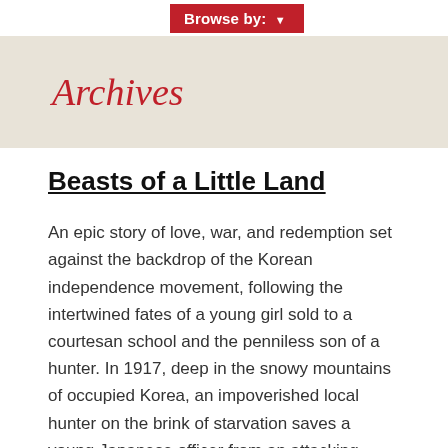Browse by: ▼
Archives
Beasts of a Little Land
An epic story of love, war, and redemption set against the backdrop of the Korean independence movement, following the intertwined fates of a young girl sold to a courtesan school and the penniless son of a hunter. In 1917, deep in the snowy mountains of occupied Korea, an impoverished local hunter on the brink of starvation saves a young Japanese officer from an attacking tiger. In an instant, their fates are connected